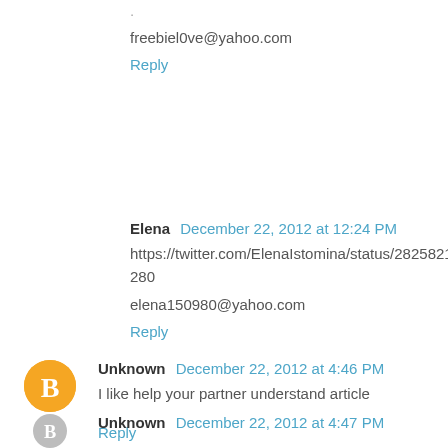.
freebiel0ve@yahoo.com
Reply
Elena  December 22, 2012 at 12:24 PM
https://twitter.com/ElenaIstomina/status/282582153127137280
elena150980@yahoo.com
Reply
Unknown  December 22, 2012 at 4:46 PM
I like help your partner understand article
Reply
Unknown  December 22, 2012 at 4:47 PM